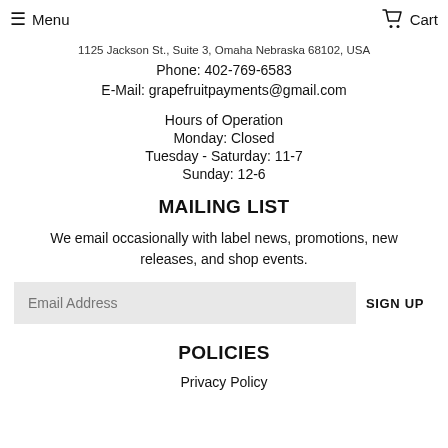Menu  Cart
1125 Jackson St., Suite 3, Omaha Nebraska 68102, USA
Phone: 402-769-6583
E-Mail: grapefruitpayments@gmail.com
Hours of Operation
Monday: Closed
Tuesday - Saturday: 11-7
Sunday: 12-6
MAILING LIST
We email occasionally with label news, promotions, new releases, and shop events.
POLICIES
Privacy Policy